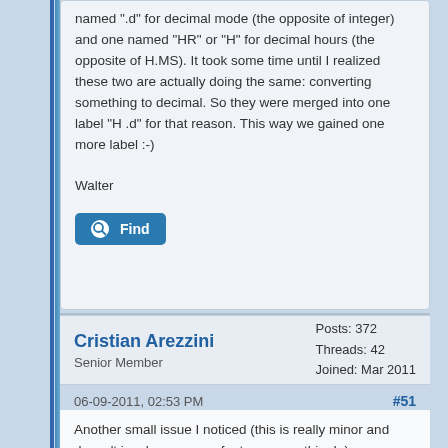named ".d" for decimal mode (the opposite of integer) and one named "HR" or "H" for decimal hours (the opposite of H.MS). It took some time until I realized these two are actually doing the same: converting something to decimal. So they were merged into one label "H .d" for that reason. This way we gained one more label :-)

Walter
Cristian Arezzini
Senior Member
Posts: 372
Threads: 42
Joined: Mar 2011
06-09-2011, 02:53 PM  #51
Another small issue I noticed (this is really minor and doesn't involve any new feature or anything! :)
If you press On+C, to use a hardware crystal, the message displayed is: